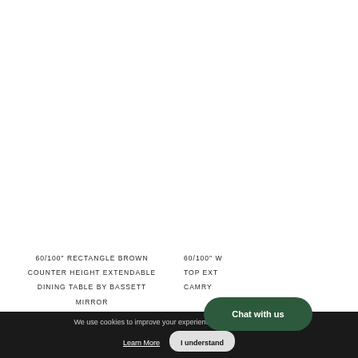[Figure (photo): White/blank product image area - no visible product image]
60/100" RECTANGLE BROWN COUNTER HEIGHT EXTENDABLE DINING TABLE BY BASSETT MIRROR
60/100" W TOP EXT CAMRY...
We use cookies to improve your experience ... sage.
Learn More
I understand
Chat with us